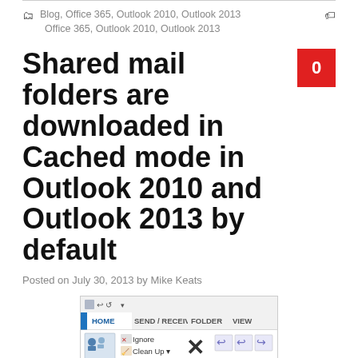Blog, Office 365, Outlook 2010, Outlook 2013 | Office 365, Outlook 2010, Outlook 2013
Shared mail folders are downloaded in Cached mode in Outlook 2010 and Outlook 2013 by default
Posted on July 30, 2013 by Mike Keats
[Figure (screenshot): Screenshot of Microsoft Outlook ribbon interface showing HOME, SEND/RECEIVE, FOLDER, VIEW tabs with icons for New, Ignore, Clean Up, Delete, Reply, Reply All, Forward buttons]